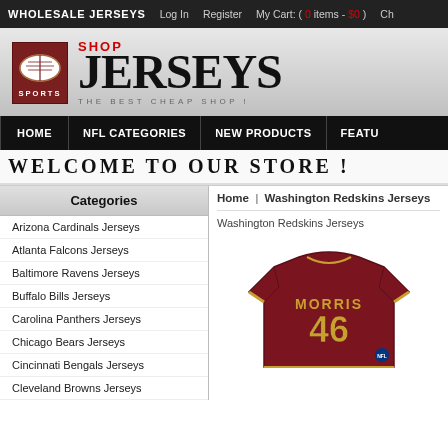WHOLESALE JERSEYS   Log In   Register   My Cart: ( 0 items - $0 )   Ch
[Figure (logo): Shop Jerseys Sports logo with football icon. Text reads SHOP JERSEYS SPORTS - THE BEST CHEAP SHOP !]
HOME   NFL CATEGORIES   NEW PRODUCTS   FEATU
WELCOME TO OUR STORE !
Categories
Home | Washington Redskins Jerseys
Arizona Cardinals Jerseys
Atlanta Falcons Jerseys
Baltimore Ravens Jerseys
Buffalo Bills Jerseys
Carolina Panthers Jerseys
Chicago Bears Jerseys
Cincinnati Bengals Jerseys
Cleveland Browns Jerseys
Washington Redskins Jerseys
[Figure (photo): Washington Redskins #46 MORRIS jersey in dark red/maroon with gold lettering]